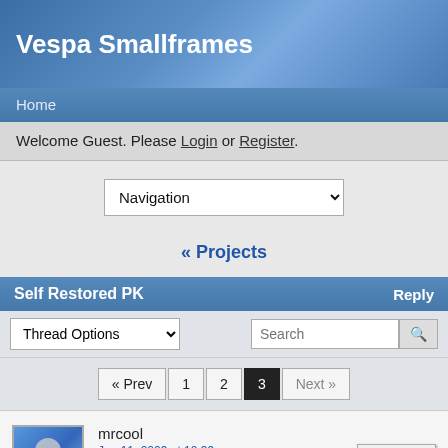Vespa Smallframes
Home
Welcome Guest. Please Login or Register.
Navigation
« Projects
Self Restored PK
Thread Options
Search
« Prev  1  2  3  Next »
mrcool
Jan 11, 2009 at 10:39pm